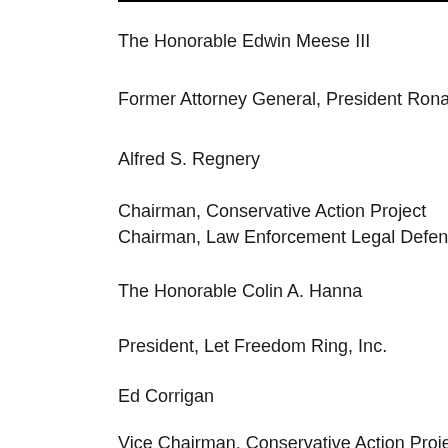The Honorable Edwin Meese III
Former Attorney General, President Ronald Re
Alfred S. Regnery
Chairman, Conservative Action Project
Chairman, Law Enforcement Legal Defense Fu
The Honorable Colin A. Hanna
President, Let Freedom Ring, Inc.
Ed Corrigan
Vice Chairman, Conservative Action Project
Former Executive Director, Senate Steering Co